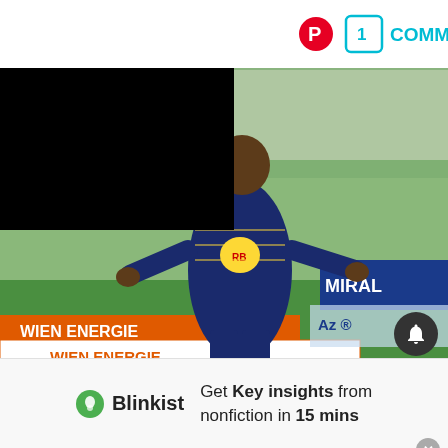[Figure (photo): A football player wearing FC Red Bull Salzburg dark blue kit with yellow stripes, celebrating or gesturing during a match in a stadium with green stands and crowd in background. Wien Energie and Admiral advertising boards visible. Top-left corner has a black redacted rectangle.]
Photo by Jasmin Walter – FC Red Bull Salzburg/FC Red Bull Salzburg via Getty Images
[Figure (infographic): Blinkist advertisement banner: Blinkist logo with green droplet icon, text reads 'Get Key insights from nonfiction in 15 mins']